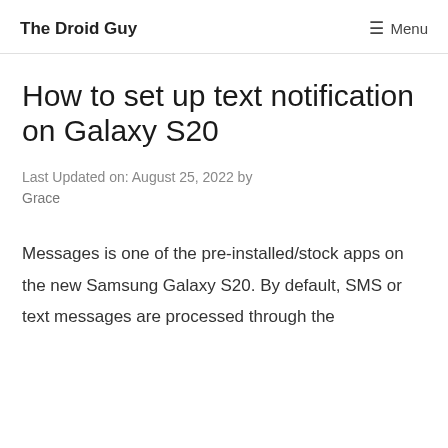The Droid Guy   ☰ Menu
How to set up text notification on Galaxy S20
Last Updated on: August 25, 2022 by Grace
Messages is one of the pre-installed/stock apps on the new Samsung Galaxy S20. By default, SMS or text messages are processed through the built-in messages app. If you'd like to